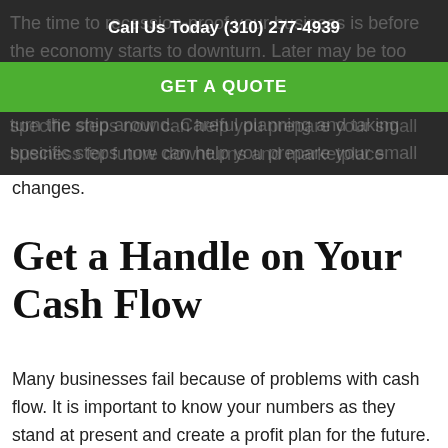Call Us Today (310) 277-4939
[Figure (other): Green call-to-action button banner with text GET A QUOTE over dark background with partially visible body text]
The time to recession-proof your business is before the economy starts to downturn. Later may be too late to turn the ship around. Careful planning and taking specific steps now can help you prepare your small business for future downturns and marketplace changes.
Get a Handle on Your Cash Flow
Many businesses fail because of problems with cash flow. It is important to know your numbers as they stand at present and create a profit plan for the future.